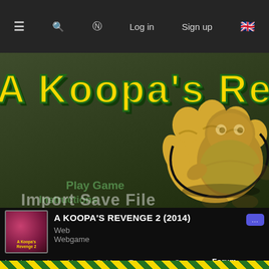≡  🔍  🎮  Log in  Sign up  🇬🇧
[Figure (screenshot): A Koopa's Revenge 2 game banner with large yellow outlined text 'A Koopa's Revenge 2' on a dark green/grey background, with a large cartoon fist on the right side]
[Figure (screenshot): Game listing: A Koopa's Revenge 2 (2014) with thumbnail, Web / Webgame platform, and a blue chat icon]
A KOOPA'S REVENGE 2 (2014)
Web
Webgame
Leaderboards ▾  News  Guides  Resources  Streams  Forum
Statistics  Boosters
Import Save File
A KOOPA'S REVENGE 2 FORUM / NEW IDEA FOR A RUN CATEGORY.
9.0.2
Previous  Page 1 of 2  Next